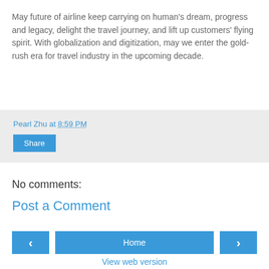May future of airline keep carrying on human's dream, progress and legacy, delight the travel journey, and lift up customers' flying spirit. With globalization and digitization, may we enter the gold-rush era for travel industry in the upcoming decade.
Pearl Zhu at 8:59 PM
Share
No comments:
Post a Comment
Home
View web version